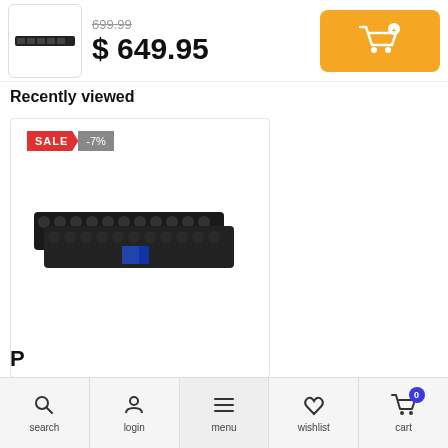[Figure (screenshot): Product thumbnail image showing a dark horizontal audio/speaker bar device]
699.99 (strikethrough)
$ 649.95
[Figure (illustration): Orange add-to-cart button with shopping cart icon and plus badge]
Recently viewed
[Figure (screenshot): Product card showing a sale badge SALE -7% and a dark speaker bar product image]
SALE -7%
search  login  menu  wishlist  cart (0)